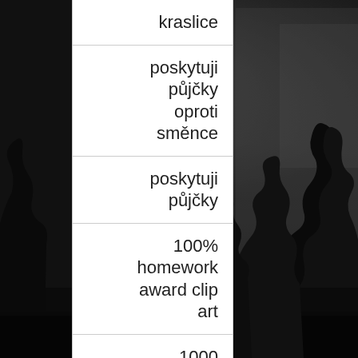[Figure (photo): Dark outdoor photograph showing silhouette of trees against a grey sky, nighttime or dusk scene]
kraslice
poskytuji půjčky oproti směnce
poskytuji půjčky
100% homework award clip art
1000 character essay